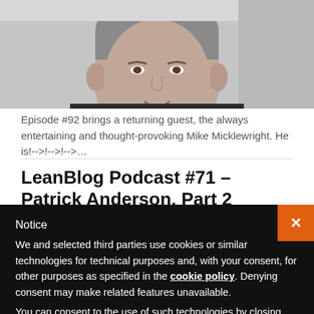[Figure (photo): Partial photo of a man's face (smiling, middle-aged, short gray hair) cropped to show forehead to chin, on a light gray background.]
Episode #92 brings a returning guest, the always entertaining and thought-provoking Mike Micklewright. He is!-->!-->!-->...
LeanBlog Podcast #71 – Patrick Anderson, Part 2
Notice
We and selected third parties use cookies or similar technologies for technical purposes and, with your consent, for other purposes as specified in the cookie policy. Denying consent may make related features unavailable.
You can consent to the use of such technologies by closing this notice, by scrolling this page, by interacting with any link or button outside of this notice or by continuing to browse otherwise.